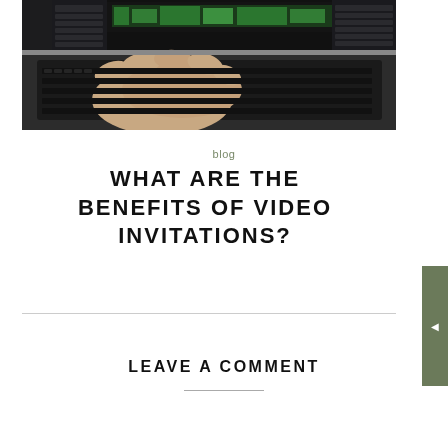[Figure (photo): Hands typing on a MacBook laptop keyboard, with a dark video editing software interface visible on the screen.]
blog
WHAT ARE THE BENEFITS OF VIDEO INVITATIONS?
LEAVE A COMMENT